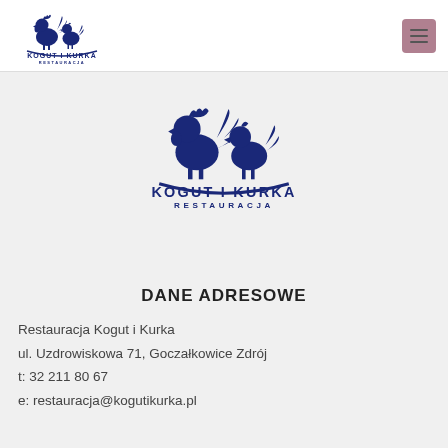Kogut i Kurka Restauracja — navigation header
[Figure (logo): Kogut i Kurka Restauracja logo — two dark blue roosters/chickens silhouette with text 'KOGUT I KURKA' and 'RESTAURACJA' below, in dark navy blue]
DANE ADRESOWE
Restauracja Kogut i Kurka
ul. Uzdrowiskowa 71, Goczałkowice Zdrój
t: 32 211 80 67
e: restauracja@kogutikurka.pl